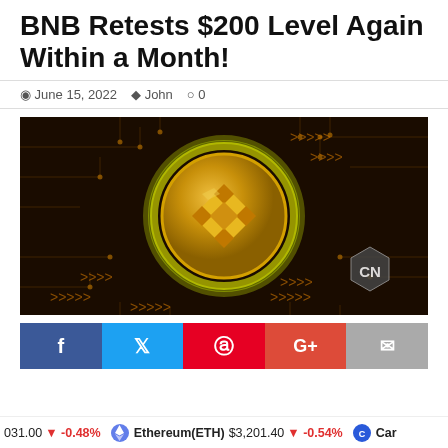BNB Retests $200 Level Again Within a Month!
June 15, 2022   John   0
[Figure (photo): 3D rendered gold BNB (Binance) coin with glowing yellow-green ring on dark circuit board background, with CryptoNewsZ watermark logo in bottom right]
[Figure (infographic): Social sharing buttons: Facebook (blue), Twitter (light blue), Pinterest (red), Google+ (red-orange), Email (gray)]
031.00  -0.48%    Ethereum(ETH)  $3,201.40  -0.54%    Car